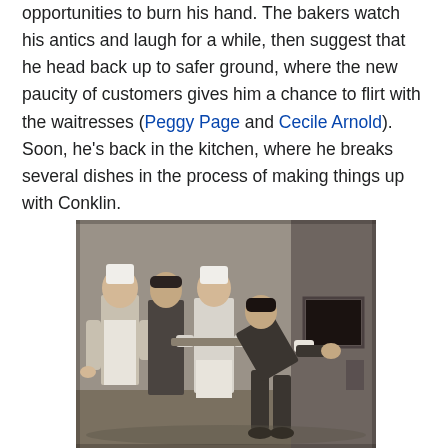opportunities to burn his hand. The bakers watch his antics and laugh for a while, then suggest that he head back up to safer ground, where the new paucity of customers gives him a chance to flirt with the waitresses (Peggy Page and Cecile Arnold). Soon, he's back in the kitchen, where he breaks several dishes in the process of making things up with Conklin.
[Figure (photo): Black and white photograph of four people in a kitchen/bakery setting. Three men standing on the left wearing aprons and work clothes, watching a fourth person on the right who is bending over and reaching into a small oven or opening in a wall.]